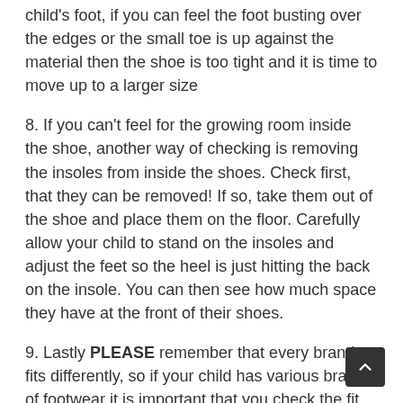child's foot, if you can feel the foot busting over the edges or the small toe is up against the material then the shoe is too tight and it is time to move up to a larger size
8. If you can't feel for the growing room inside the shoe, another way of checking is removing the insoles from inside the shoes. Check first, that they can be removed! If so, take them out of the shoe and place them on the floor. Carefully allow your child to stand on the insoles and adjust the feet so the heel is just hitting the back on the insole. You can then see how much space they have at the front of their shoes.
9. Lastly PLEASE remember that every brand fits differently, so if your child has various brands of footwear it is important that you check the fit across all the brands.